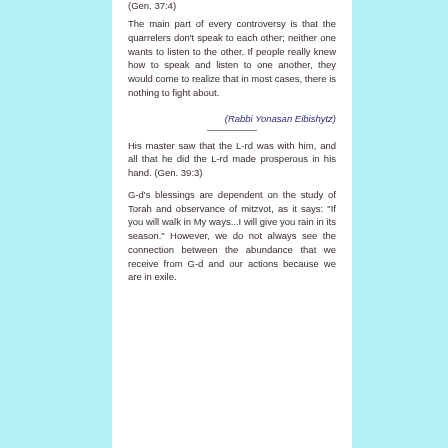(Gen. 37:4)
The main part of every controversy is that the quarrelers don't speak to each other; neither one wants to listen to the other. If people really knew how to speak and listen to one another, they would come to realize that in most cases, there is nothing to fight about.
(Rabbi Yonasan Eibishytz)
His master saw that the L-rd was with him, and all that he did the L-rd made prosperous in his hand. (Gen. 39:3)
G-d's blessings are dependent on the study of Torah and observance of mitzvot, as it says: "If you will walk in My ways...I will give you rain in its season." However, we do not always see the connection between the abundance that we receive from G-d and our actions because we are in exile.